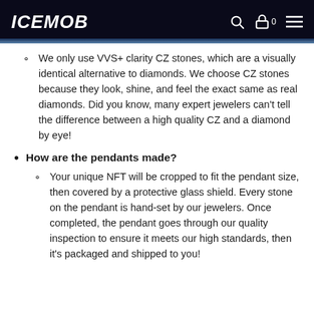ICEMOB
We only use VVS+ clarity CZ stones, which are a visually identical alternative to diamonds. We choose CZ stones because they look, shine, and feel the exact same as real diamonds. Did you know, many expert jewelers can't tell the difference between a high quality CZ and a diamond by eye!
How are the pendants made?
Your unique NFT will be cropped to fit the pendant size, then covered by a protective glass shield. Every stone on the pendant is hand-set by our jewelers. Once completed, the pendant goes through our quality inspection to ensure it meets our high standards, then it's packaged and shipped to you!